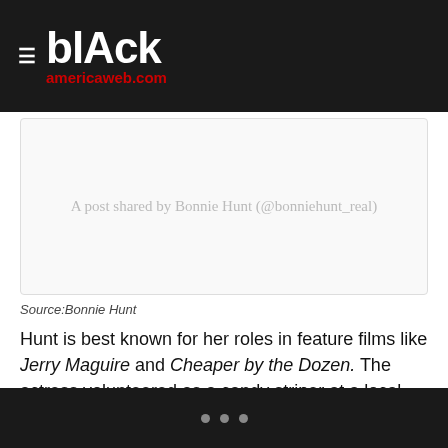blAck americaweb.com
A post shared by Bonnie Hunt (@bonniehunt_real)
Source:Bonnie Hunt
Hunt is best known for her roles in feature films like Jerry Maguire and Cheaper by the Dozen. The actress volunteered as a candy striper at a local hospital when she was a teenager, according to the Chicago Tribune. On the suggestion of her father, she entered nursing school, though initially didn't plan on finishing because her heart wasn't in it. After her dad passed away, though, she worked with a patient who had a special connection to her family, and that encouraged her to stick with nursing.
• • •